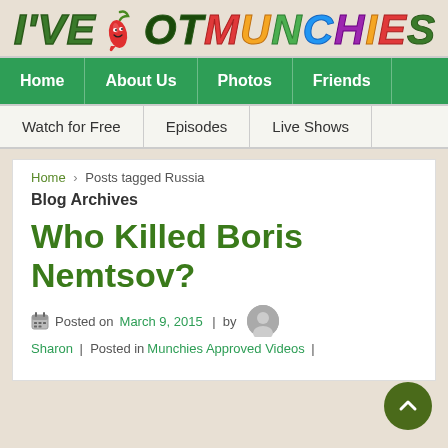I'VE GOT MUNCHIES
Home | About Us | Photos | Friends
Watch for Free | Episodes | Live Shows
Home › Posts tagged Russia
Blog Archives
Who Killed Boris Nemtsov?
Posted on March 9, 2015 | by Sharon | Posted in Munchies Approved Videos |